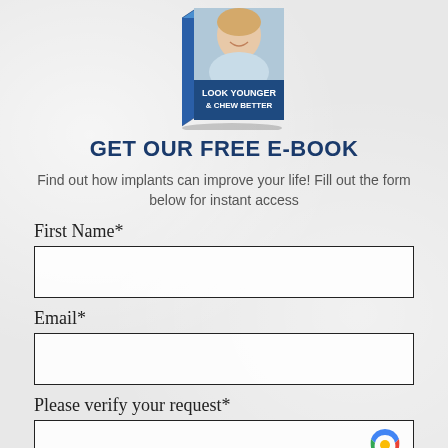[Figure (illustration): Book cover for 'Look Younger & Chew Better' e-book showing a smiling woman, displayed as a 3D book]
GET OUR FREE E-BOOK
Find out how implants can improve your life! Fill out the form below for instant access
First Name*
Email*
Please verify your request*